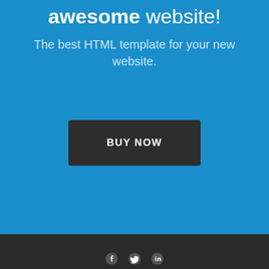awesome website!
The best HTML template for your new website.
BUY NOW
Social media icons (facebook, twitter, linkedin)